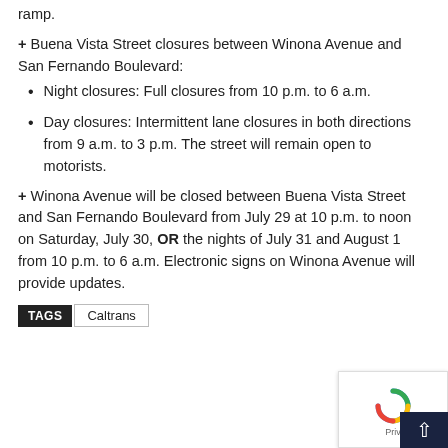ramp.
+ Buena Vista Street closures between Winona Avenue and San Fernando Boulevard:
Night closures: Full closures from 10 p.m. to 6 a.m.
Day closures: Intermittent lane closures in both directions from 9 a.m. to 3 p.m. The street will remain open to motorists.
+ Winona Avenue will be closed between Buena Vista Street and San Fernando Boulevard from July 29 at 10 p.m. to noon on Saturday, July 30, OR the nights of July 31 and August 1 from 10 p.m. to 6 a.m. Electronic signs on Winona Avenue will provide updates.
TAGS  Caltrans